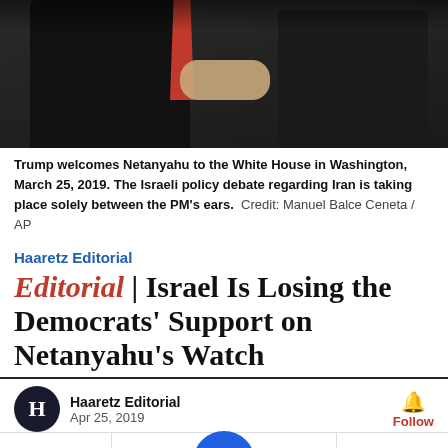[Figure (photo): Two men in dark suits shaking hands; one wearing a red tie. Trump welcomes Netanyahu to the White House.]
Trump welcomes Netanyahu to the White House in Washington, March 25, 2019. The Israeli policy debate regarding Iran is taking place solely between the PM's ears.  Credit: Manuel Balce Ceneta / AP
Haaretz Editorial
Editorial | Israel Is Losing the Democrats' Support on Netanyahu's Watch
Haaretz Editorial
Apr 25, 2019
[Figure (screenshot): Social share bar with Twitter, Facebook, Haaretz logo center button, bookmark, and email icons. Follow button with bell icon on right.]
[Figure (screenshot): Petco advertisement: Your One-Stop Summer Pet Shop, Petco, with blue arrow graphic and close button.]